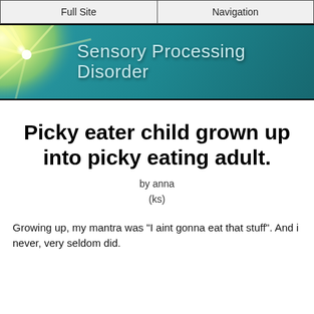Full Site | Navigation
[Figure (illustration): Sensory Processing Disorder website banner with starburst light effect on teal/green gradient background and white italic text 'Sensory Processing Disorder']
Picky eater child grown up into picky eating adult.
by anna
(ks)
Growing up, my mantra was "I aint gonna eat that stuff". And i never, very seldom did.